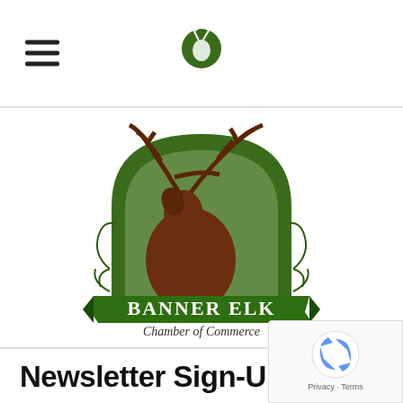[Figure (logo): Hamburger menu icon (three horizontal lines) on the left of the page header]
[Figure (logo): Small Banner Elk Chamber of Commerce logo (elk silhouette in green circle) centered in page header]
[Figure (logo): Large Banner Elk Chamber of Commerce logo: elk bugling inside a green arch, with green ribbon banner reading 'BANNER ELK' and 'Chamber of Commerce' below]
Newsletter Sign-Up